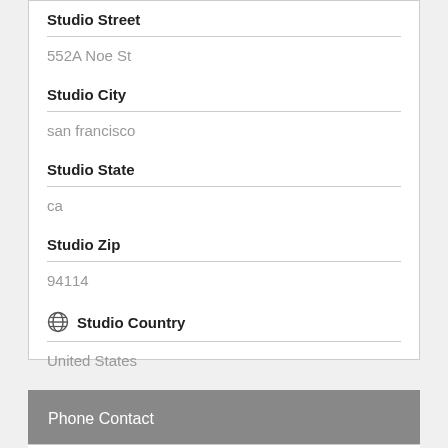Studio Street
552A Noe St
Studio City
san francisco
Studio State
ca
Studio Zip
94114
Studio Country
United States
Phone Contact